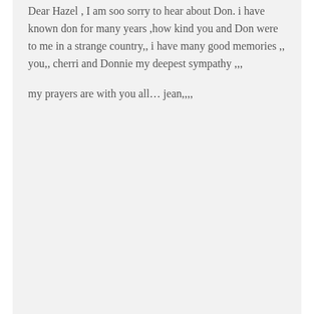Dear Hazel , I am soo sorry to hear about Don. i have known don for many years ,how kind you and Don were to me in a strange country,, i have many good memories ,, you,, cherri and Donnie my deepest sympathy ,,,
my prayers are with you all… jean,,,,
Janet and George Fletcher
February 9, 2011 at 1:59 pm
Hazel and family: We were so sorry to hear about Donald's passing. We enjoyed our visits to the house and to the lake. I enjoyed